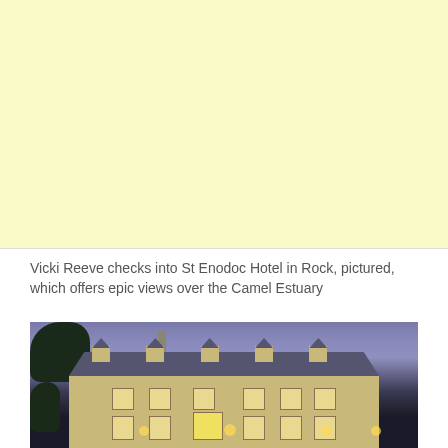[Figure (other): Large pale yellow/cream colored advertising or placeholder block occupying the top portion of the page]
Vicki Reeve checks into St Enodoc Hotel in Rock, pictured, which offers epic views over the Camel Estuary
[Figure (photo): Exterior photograph of St Enodoc Hotel at dusk/twilight, showing a large multi-storey stone building with dormers and illuminated windows, surrounded by trees, with a purple-blue sky background]